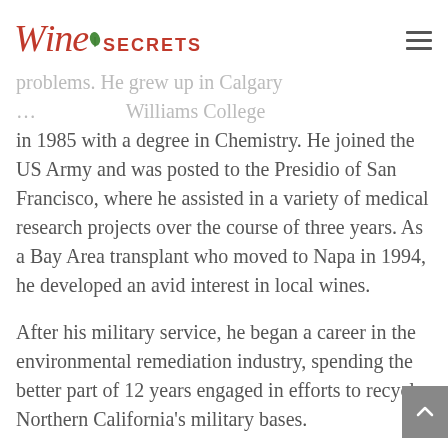Wine Secrets
problems. He grew up in Calgary… in 1985 with a degree in Chemistry. He joined the US Army and was posted to the Presidio of San Francisco, where he assisted in a variety of medical research projects over the course of three years. As a Bay Area transplant who moved to Napa in 1994, he developed an avid interest in local wines.
After his military service, he began a career in the environmental remediation industry, spending the better part of 12 years engaged in efforts to recycle Northern California's military bases.